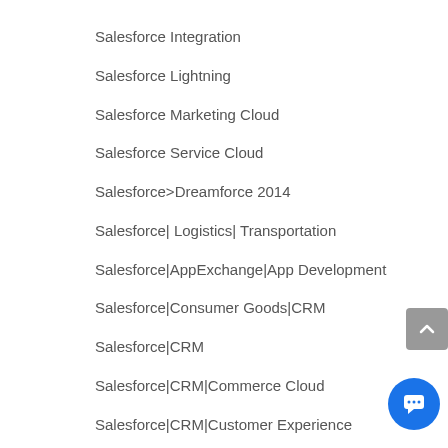Salesforce Integration
Salesforce Lightning
Salesforce Marketing Cloud
Salesforce Service Cloud
Salesforce>Dreamforce 2014
Salesforce| Logistics| Transportation
Salesforce|AppExchange|App Development
Salesforce|Consumer Goods|CRM
Salesforce|CRM
Salesforce|CRM|Commerce Cloud
Salesforce|CRM|Customer Experience
Salesforce|Programming in Apex>Business Process Automation